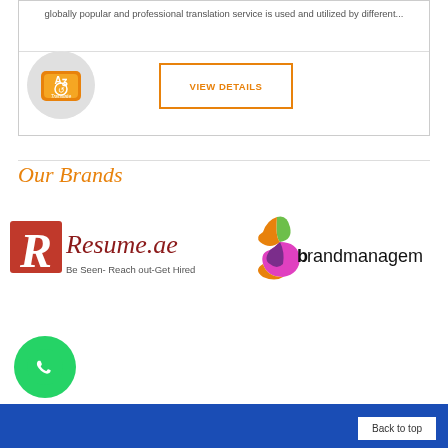globally popular and professional translation service is used and utilized by different...
[Figure (logo): Circular logo with orange keyboard translate key]
VIEW DETAILS
Our Brands
[Figure (logo): Resume.ae logo - Be Seen- Reach out-Get Hired]
[Figure (logo): brandmanagement logo with colorful b icon]
[Figure (logo): WhatsApp green circle phone icon]
Back to top